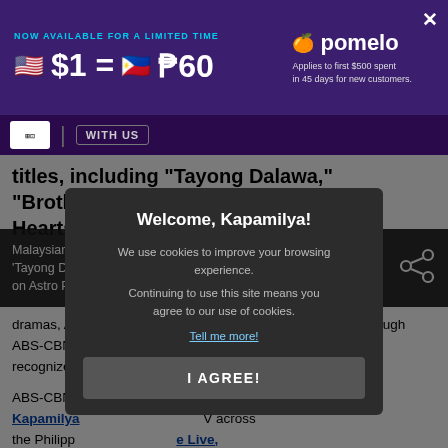[Figure (screenshot): Pomelo ad banner: NOW AVAILABLE FOR A LIMITED TIME, $1 = ₱60, Applies to first $500 spent in 45 days for new customers.]
WITH US
titles, including "Tayong Dalawa," "Brothers," "The Heiress," "Destined Hearts," "The General's
Malaysian adaptation of ABS-CBN's 'Tayong Dalawa' is most-watched show on Astro Prima Channel in 2020
dramas, ABS-CBN shows are available in many countries through ABS-CBN International Distribution, which is recognized [as a content provider].
ABS-CBN streams ... the Kapamilya ... TV across the Philippines ... e Live, which is str... 's YouTube an... lms are also availab... TFC, while some of its ... Flix.
[Figure (screenshot): Cookie consent modal: Welcome, Kapamilya! We use cookies to improve your browsing experience. Continuing to use this site means you agree to our use of cookies. Tell me more! [I AGREE! button]]
The company continues to syndicate its content through various streaming services and operate other businesses that [support various activities for franchises and].